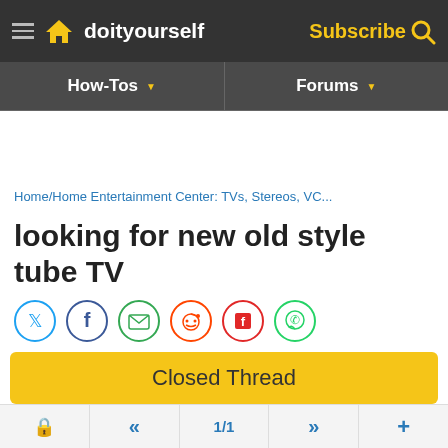doityourself — Subscribe
[Figure (screenshot): Navigation bar with How-Tos and Forums menu items with dropdown arrows]
Home/Home Entertainment Center: TVs, Stereos, VC...
looking for new old style tube TV
[Figure (infographic): Social share icons: Twitter, Facebook, Email, Reddit, Flipboard, WhatsApp]
Closed Thread
diy99999 , 05-07-14 05:21 PM #1
lock | « | 1/1 | » | +